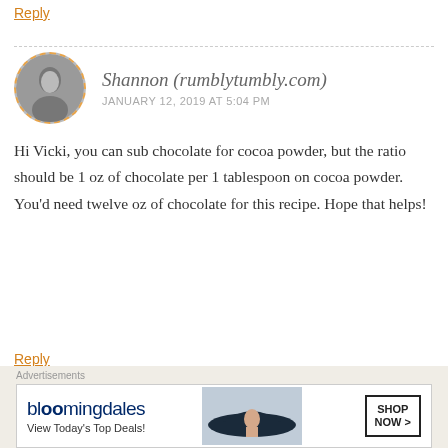Reply
[Figure (photo): Circular avatar photo of Shannon with dashed orange border, black and white photo of a woman]
Shannon (rumblytumbly.com)
JANUARY 12, 2019 AT 5:04 PM
Hi Vicki, you can sub chocolate for cocoa powder, but the ratio should be 1 oz of chocolate per 1 tablespoon on cocoa powder. You'd need twelve oz of chocolate for this recipe. Hope that helps!
Reply
Advertisements
[Figure (screenshot): Advertisement for WordPress: Professionally designed sites]
Advertisements
[Figure (screenshot): Bloomingdales advertisement: View Today's Top Deals! SHOP NOW >]